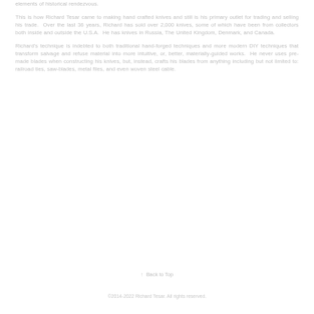elements of historical rendezvous.
This is how Richard Tesar came to making hand crafted knives and still is his primary outlet for trading and selling his trade. Over the last 36 years, Richard has sold over 2,000 knives, some of which have been from collectors both inside and outside the U.S.A. He has knives in Russia, The United Kingdom, Denmark, and Canada.
Richard's technique is indebted to both traditional hand-forged techniques and more modern DIY techniques that transform salvage and refuse material into more intuitive, or, better, materially-guided works. He never uses pre-made blades when constructing his knives, but, instead, crafts his blades from anything including but not limited to: railroad ties, saw-blades, metal files, and even woven steel cable.
↑  Back to Top
©2014-2022 Richard Tesar. All rights reserved.